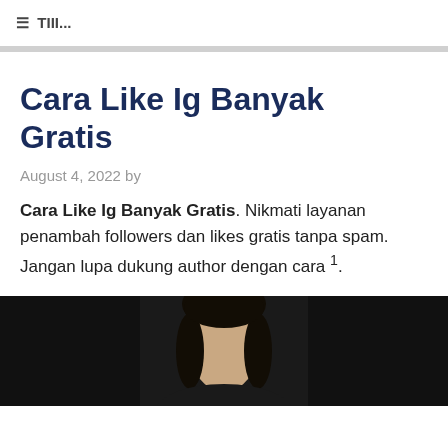Cara Like Ig Banyak Gratis
August 4, 2022 by
Cara Like Ig Banyak Gratis. Nikmati layanan penambah followers dan likes gratis tanpa spam. Jangan lupa dukung author dengan cara ¹.
[Figure (photo): Portrait photo of a young woman with dark hair against a dark background]